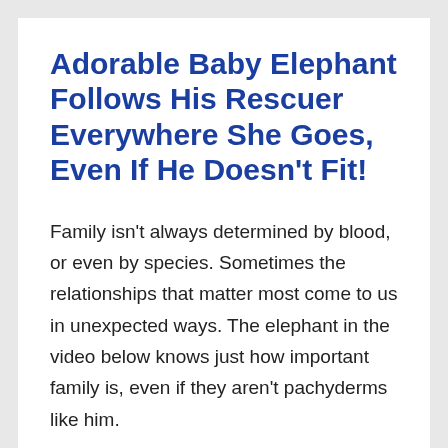Adorable Baby Elephant Follows His Rescuer Everywhere She Goes, Even If He Doesn't Fit!
Family isn't always determined by blood, or even by species. Sometimes the relationships that matter most come to us in unexpected ways. The elephant in the video below knows just how important family is, even if they aren't pachyderms like him.
Moyo  was only a few days old when he was found. He'd tried crossing a river, possibly with his elephant family, and wasn't strong enough to fight